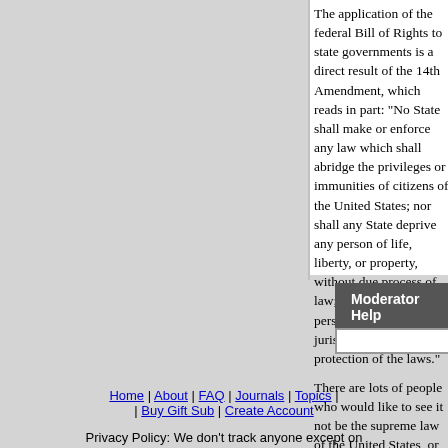The application of the federal Bill of Rights to state governments is a direct result of the 14th Amendment, which reads in part: "No State shall make or enforce any law which shall abridge the privileges or immunities of citizens of the United States; nor shall any State deprive any person of life, liberty, or property, without due process of law; nor deny to any person within its jurisdiction the equal protection of the laws."
There are lots of people who would like to see it not be the supreme law of the United States, or believe it should be interpreted differently because it was imposed on the South after the Civil War. That's the reason the issue gets muddled a bit.
--
Alcohol makes the world go round ...
Parent
Moderator Help
Home | About | FAQ | Journals | Topics | Buy Gift Sub | Create Account
Privacy Policy: We don't track anyone except on